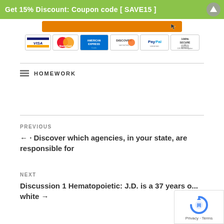Get 15% Discount: Coupon code [ SAVE15 ]
[Figure (other): Payment method icons: VISA, MasterCard, American Express, Discover, PayPal, 100% Secure 128 SSL Encryption]
HOMEWORK
PREVIOUS
← · Discover which agencies, in your state, are responsible for
NEXT
Discussion 1 Hematopoietic: J.D. is a 37 years o... white →
[Figure (other): reCAPTCHA badge — Privacy · Terms]